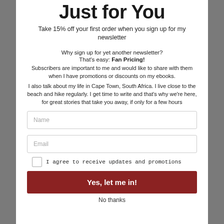Just for You
Take 15% off your first order when you sign up for my newsletter
Why sign up for yet another newsletter?
That's easy: Fan Pricing!
Subscribers are important to me and would like to share with them when I have promotions or discounts on my ebooks.
I also talk about my life in Cape Town, South Africa. I live close to the beach and hike regularly. I get time to write and that's why we're here, for great stories that take you away, if only for a few hours
Name
Email
I agree to receive updates and promotions
Yes, let me in!
No thanks